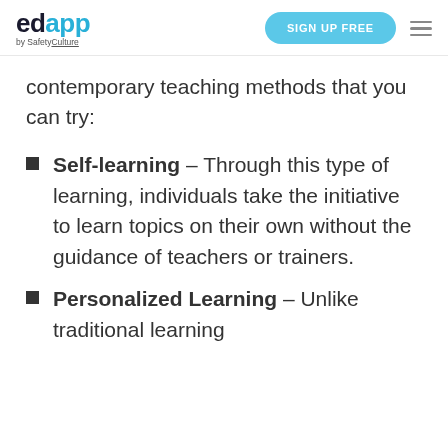edapp by SafetyCulture | SIGN UP FREE
contemporary teaching methods that you can try:
Self-learning – Through this type of learning, individuals take the initiative to learn topics on their own without the guidance of teachers or trainers.
Personalized Learning – Unlike traditional learning